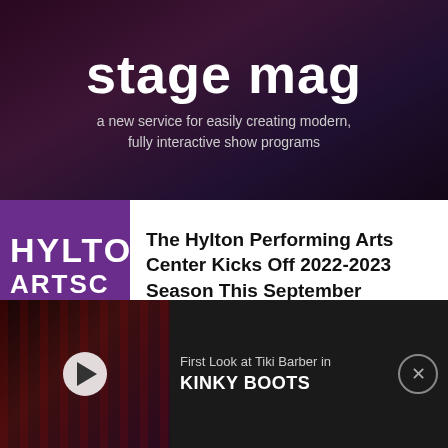[Figure (screenshot): Stage Mag advertisement banner — dark gradient background, large white bold 'stage mag' text, subtitle 'a new service for easily creating modern, fully interactive show programs']
[Figure (logo): Hylton Arts Center purple logo with white text 'HYLTO' and 'ARTSC']
The Hylton Performing Arts Center Kicks Off 2022-2023 Season This September
[Figure (logo): Kennedy Center black logo showing angular building silhouette shapes]
The Kennedy Center Announces Millennium Stage Schedule for September 2022 Featuring National Dance Day & More
[Figure (screenshot): Video notification bar at bottom: dark background, thumbnail of stage performance with red lighting and play button, text 'First Look at Tiki Barber in KINKY BOOTS', close button]